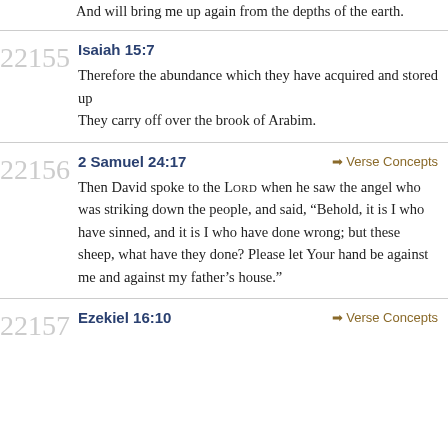And will bring me up again from the depths of the earth.
22155 Isaiah 15:7
Therefore the abundance which they have acquired and stored up
They carry off over the brook of Arabim.
22156 2 Samuel 24:17
➔ Verse Concepts
Then David spoke to the LORD when he saw the angel who was striking down the people, and said, “Behold, it is I who have sinned, and it is I who have done wrong; but these sheep, what have they done? Please let Your hand be against me and against my father’s house.”
22157 Ezekiel 16:10
➔ Verse Concepts